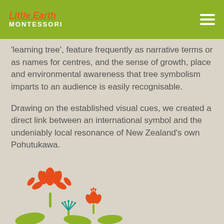Little Earth MONTESSORI
'learning tree', feature frequently as narrative terms or as names for centres, and the sense of growth, place and environmental awareness that tree symbolism imparts to an audience is easily recognisable.
Drawing on the established visual cues, we created a direct link between an international symbol and the undeniably local resonance of New Zealand's own Pohutukawa.
[Figure (illustration): Stylised Pohutukawa flower illustration with red blooms and green/teal elements at the bottom of the page]